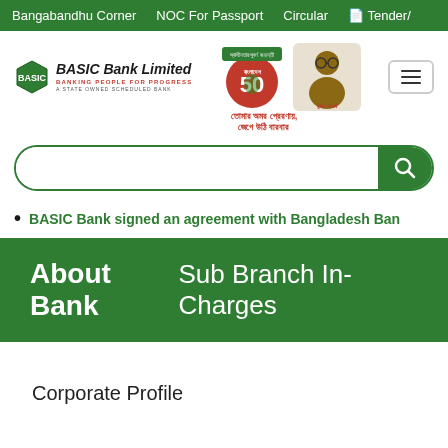Bangabandhu Corner   NOC For Passport   Circular   Tender/
[Figure (logo): BASIC Bank Limited logo with hexagon emblem and taglines, Bangladesh 50th anniversary badge, and portrait illustration with Bengali text]
BASIC Bank signed an agreement with Bangladesh Ban
About Bank  Sub Branch In-Charges
Corporate Profile